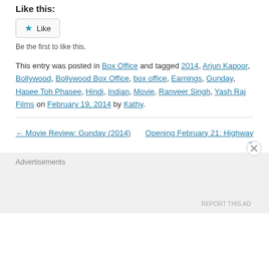Like this:
Like (button) — Be the first to like this.
This entry was posted in Box Office and tagged 2014, Arjun Kapoor, Bollywood, Bollywood Box Office, box office, Earnings, Gunday, Hasee Toh Phasee, Hindi, Indian, Movie, Ranveer Singh, Yash Raj Films on February 19, 2014 by Kathy.
← Movie Review: Gunday (2014)
Opening February 21: Highway →
Advertisements
REPORT THIS AD